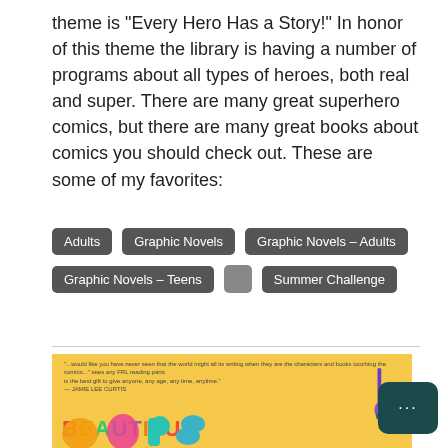theme is “Every Hero Has a Story!” In honor of this theme the library is having a number of programs about all types of heroes, both real and super. There are many great superhero comics, but there are many great books about comics you should check out. These are some of my favorites:
Adults
Graphic Novels
Graphic Novels - Adults
Graphic Novels - Teens
Summer Challenge
[Figure (photo): Book cover for 'Beautiful Oops' with yellow background, colorful title letters, and brush graphic]